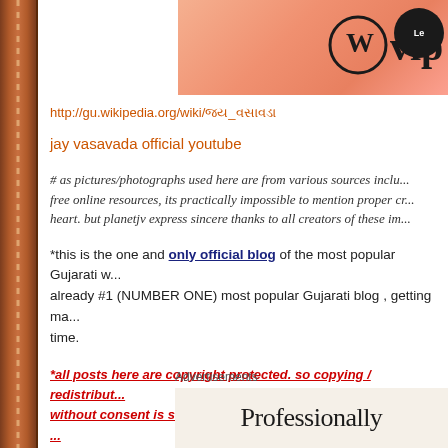[Figure (screenshot): WordPress VIP banner with orange gradient background and a dark circular button partially visible on right]
http://gu.wikipedia.org/wiki/જય_વસાવડા
jay vasavada official youtube
# as pictures/photographs used here are from various sources including free online resources, its practically impossible to mention proper cr... heart. but planetjv express sincere thanks to all creators of these im...
*this is the one and only official blog of the most popular Gujarati w... already #1 (NUMBER ONE) most popular Gujarati blog , getting ma... time.
*all posts here are copyright protected. so copying / redistribut... without consent is strictly NOT advisable. intesrested persons ... friends / group.
Advertisements
[Figure (screenshot): Advertisements banner showing text 'Professionally' on a cream/beige background]